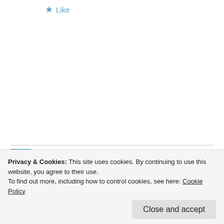★ Like
Santosh Bhaskaran says: November 11, 2011 at 4:05 pm
👍 0 👎 0 ℹ Rate This
If panspermia theory is right, still the question arises how life was formed somewhere else. After all, the universe is also just 13.5 billion years.
And if we can accept life to be forming somewhere
Privacy & Cookies: This site uses cookies. By continuing to use this website, you agree to their use.
To find out more, including how to control cookies, see here: Cookie Policy
Close and accept